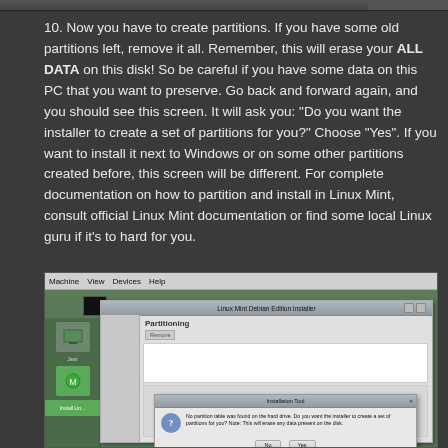10. Now you have to create partitions. If you have some old partitions left, remove it all. Remember, this will erase your ALL DATA on this disk! So be careful if you have some data on this PC that you want to preserve. Go back and forward again, and you should see this screen. It will ask you: "Do you want the installer to create a set of partitions for you?" Choose "Yes". If you want to install it next to Windows or on some other partitions created before, this screen will be different. For complete documentation on how to partition and install in Linux Mint, consult official Linux Mint documentation or find some local Linux guru if it's to hard for you.
[Figure (screenshot): Screenshot of a VirtualBox window running Linux Mint installer showing a 'Partitioning' step with a dialog box asking 'No partition table was found on the hard drive. Do you want the installer to create a set of partitions for you? Note: This will erase any data present on the disk.' with No and Yes buttons.]